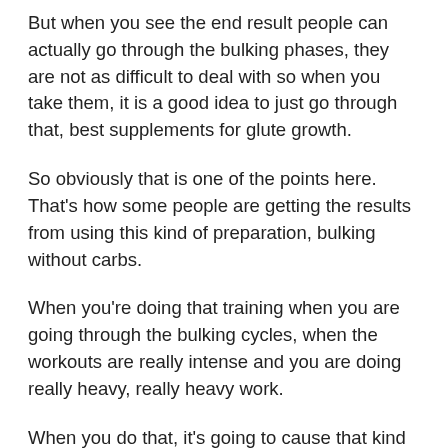But when you see the end result people can actually go through the bulking phases, they are not as difficult to deal with so when you take them, it is a good idea to just go through that, best supplements for glute growth.
So obviously that is one of the points here. That's how some people are getting the results from using this kind of preparation, bulking without carbs.
When you're doing that training when you are going through the bulking cycles, when the workouts are really intense and you are doing really heavy, really heavy work.
When you do that, it's going to cause that kind of an imbalance within your system where it can cause your